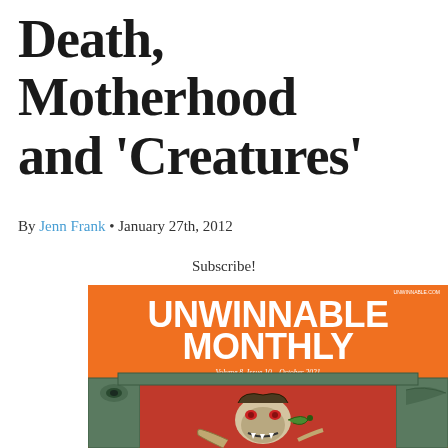Death, Motherhood and 'Creatures'
By Jenn Frank • January 27th, 2012
Subscribe!
[Figure (photo): Cover of Unwinnable Monthly magazine, Volume 8, Issue 10, October 2021. Orange background with white bold text 'UNWINNABLE MONTHLY' at top. Below shows illustrated horror artwork of a zombie or monster creature emerging from a stone doorway with Egyptian-style carvings.]